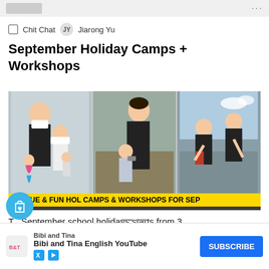☐  Chit Chat    JY  Jiarong Yu
September Holiday Camps + Workshops
[Figure (photo): Collage of three photos showing holiday camp activities: (left) woman and child wearing masks holding mermaid dolls, (center) woman helping young child with activity, (right) people bending down near water. Yellow banner reads 'UNIQUE & FUN HOL CAMPS & WORKSHOPS FOR SEP'. Subtitle: 'Learn to build a doll, go on a guided nature walk, and more!']
The September school holidays starts from 3
11 September, meaning positions and for
Bibi and Tina  Bibi and Tina English YouTube  SUBSCRIBE